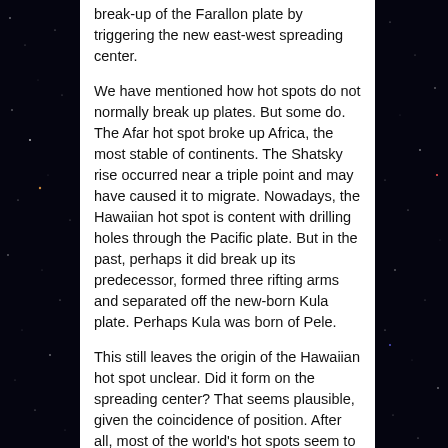break-up of the Farallon plate by triggering the new east-west spreading center.
We have mentioned how hot spots do not normally break up plates. But some do. The Afar hot spot broke up Africa, the most stable of continents. The Shatsky rise occurred near a triple point and may have caused it to migrate. Nowadays, the Hawaiian hot spot is content with drilling holes through the Pacific plate. But in the past, perhaps it did break up its predecessor, formed three rifting arms and separated off the new-born Kula plate. Perhaps Kula was born of Pele.
This still leaves the origin of the Hawaiian hot spot unclear. Did it form on the spreading center? That seems plausible, given the coincidence of position. After all, most of the world’s hot spots seem to be attached to current or past spreading centers. The map below shows the locations of the 50 or so hot spots. Almost all are in the oceans. Flood basalt eruptions, in contrast can be either on land or in the oceans.